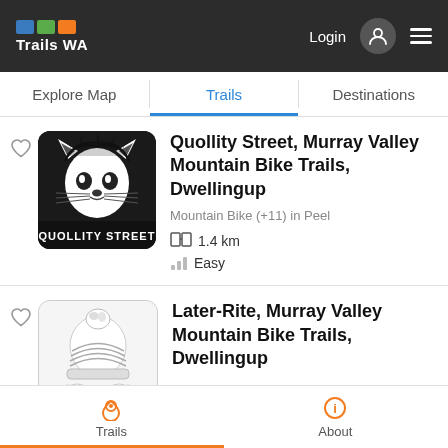Trails WA — Login, user icon, hamburger menu
Explore Map | Trails | Destinations
[Figure (illustration): Quollity Street trail card with black and white quoll illustration and text QUOLLITY STREET]
Quollity Street, Murray Valley Mountain Bike Trails, Dwellingup
Mountain Bike (+11) in Peel
1.4 km
Easy
[Figure (illustration): Later-Rite trail card with black and white illustration of a figure wearing a beanie hat]
Later-Rite, Murray Valley Mountain Bike Trails, Dwellingup
Trails  About